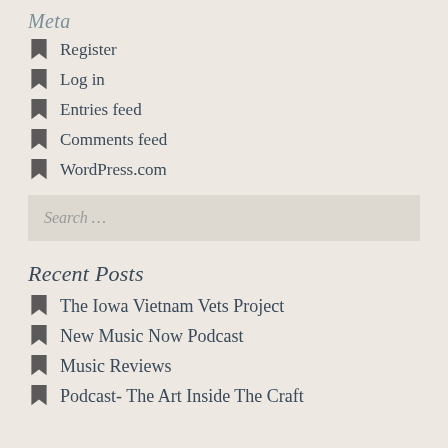Meta
Register
Log in
Entries feed
Comments feed
WordPress.com
Search …
Recent Posts
The Iowa Vietnam Vets Project
New Music Now Podcast
Music Reviews
Podcast- The Art Inside The Craft